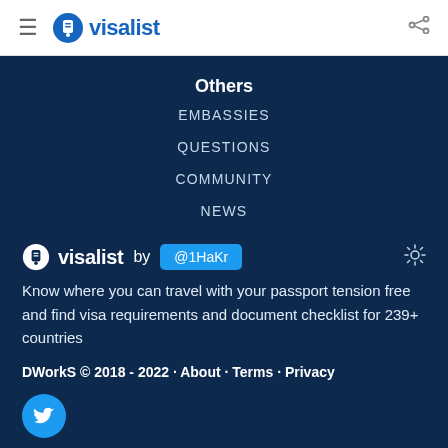visalist
Others
EMBASSIES
QUESTIONS
COMMUNITY
NEWS
visalist by @1HaKr
Know where you can travel with your passport tension free and find visa requirements and document checklist for 239+ countries
DWorkS © 2018 - 2022 · About · Terms · Privacy